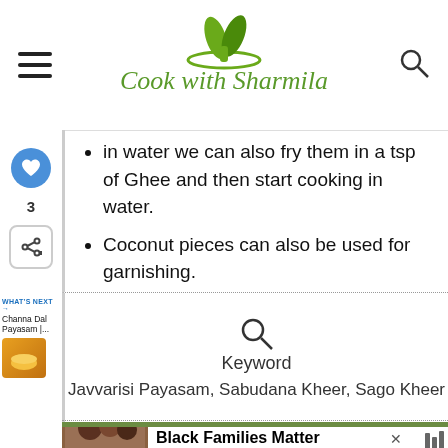Cook with Sharmila
in water we can also fry them in a tsp of Ghee and then start cooking in water.
Coconut pieces can also be used for garnishing.
Serve as a dessert after meal or during festivals.
Keyword
Javvarisi Payasam, Sabudana Kheer, Sago Kheer
WHAT'S NEXT → Channa Dal Payasam |...
[Figure (screenshot): Ad banner for Black Families Matter]